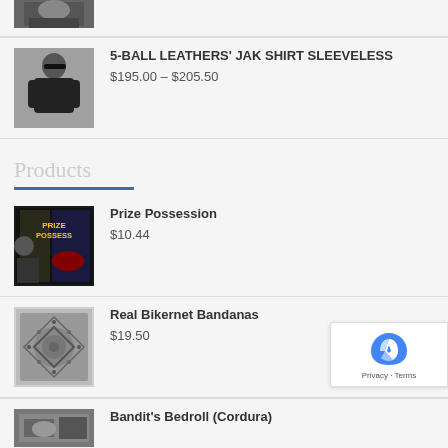[Figure (photo): Partial top product image - person in black leather shirt, cropped]
5-BALL LEATHERS' JAK SHIRT SLEEVELESS
$195.00 – $205.50
Products
[Figure (photo): Book cover: Prize Possession with motorcycle imagery]
Prize Possession
$10.44
[Figure (photo): Real Bikernet Bandanas - ornate patterned bandana]
Real Bikernet Bandanas
$19.50
[Figure (photo): Bandit's Bedroll (Cordura) - partial bottom product image]
Bandit's Bedroll (Cordura)